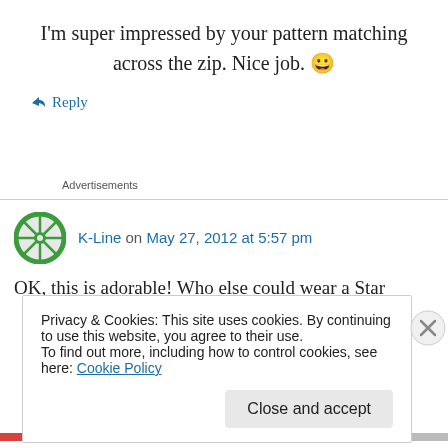I'm super impressed by your pattern matching across the zip. Nice job. 😀
↳ Reply
Advertisements
K-Line on May 27, 2012 at 5:57 pm
OK, this is adorable! Who else could wear a Star
Privacy & Cookies: This site uses cookies. By continuing to use this website, you agree to their use.
To find out more, including how to control cookies, see here: Cookie Policy